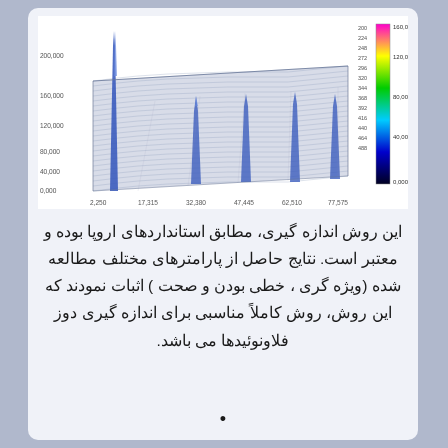[Figure (continuous-plot): 3D surface/waterfall plot showing spectral data with multiple peaks. X-axis ranges from 2.250 to 77.575, Y-axis from 0.000 to 200.000, with a color scale bar on the right side ranging from approximately 0 (black/blue) to 160,000 (red/pink). Multiple sharp peaks visible, plotted in blue/purple tones.]
این روش اندازه گیری، مطابق استانداردهای اروپا بوده و معتبر است. نتایج حاصل از پارامترهای مختلف مطالعه شده (ویژه گری ، خطی بودن و صحت ) اثبات نمودند که این روش، روش کاملاً مناسبی برای اندازه گیری دوز فلاونوئیدها می باشد.
•